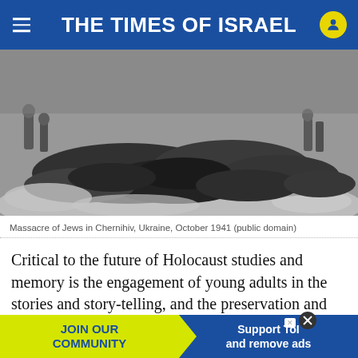THE TIMES OF ISRAEL
[Figure (photo): Black and white historical photograph showing massacre of Jews lying in snow in Chernihiv, Ukraine, October 1941. Several figures standing in background.]
Massacre of Jews in Chernihiv, Ukraine, October 1941 (public domain)
Critical to the future of Holocaust studies and memory is the engagement of young adults in the stories and story-telling, and the preservation and accessibility of the vast historical sources. This engagement can be accomplished through the use of the [obscured] al fieldw[obscured]
JOIN OUR COMMUNITY
Support ToI and remove ads